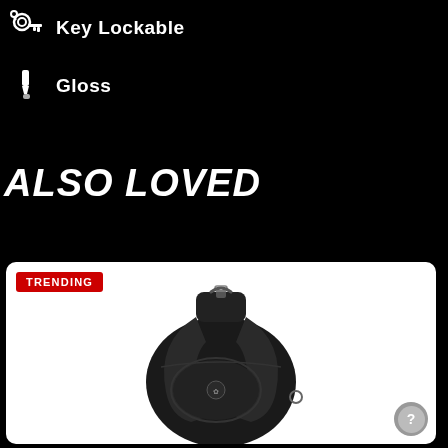Key Lockable
Gloss
ALSO LOVED
[Figure (photo): Black backpack product photo on white background with a 'TRENDING' red badge label in the top left corner.]